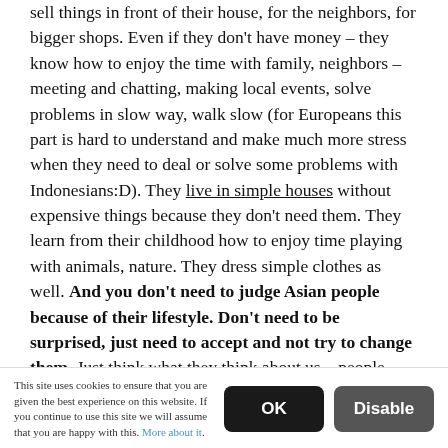sell things in front of their house, for the neighbors, for bigger shops. Even if they don't have money – they know how to enjoy the time with family, neighbors – meeting and chatting, making local events, solve problems in slow way, walk slow (for Europeans this part is hard to understand and make much more stress when they need to deal or solve some problems with Indonesians:D). They live in simple houses without expensive things because they don't need them. They learn from their childhood how to enjoy time playing with animals, nature. They dress simple clothes as well. And you don't need to judge Asian people because of their lifestyle. Don't need to be surprised, just need to accept and not try to change them. Just think what they think about us – people from abroad? Probably
This site uses cookies to ensure that you are given the best experience on this website. If you continue to use this site we will assume that you are happy with this. More about it.